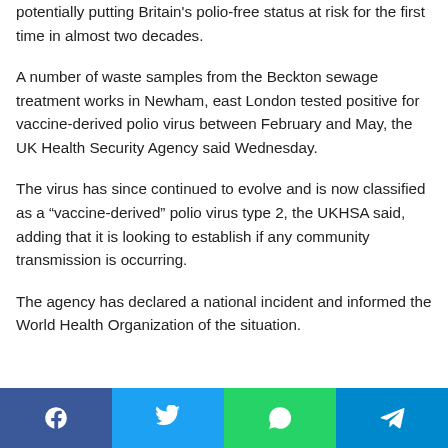potentially putting Britain's polio-free status at risk for the first time in almost two decades.
A number of waste samples from the Beckton sewage treatment works in Newham, east London tested positive for vaccine-derived polio virus between February and May, the UK Health Security Agency said Wednesday.
The virus has since continued to evolve and is now classified as a “vaccine-derived” polio virus type 2, the UKHSA said, adding that it is looking to establish if any community transmission is occurring.
The agency has declared a national incident and informed the World Health Organization of the situation.
[Figure (infographic): Social share bar with four buttons: Facebook (blue), Twitter (cyan), WhatsApp (green), Telegram (blue)]